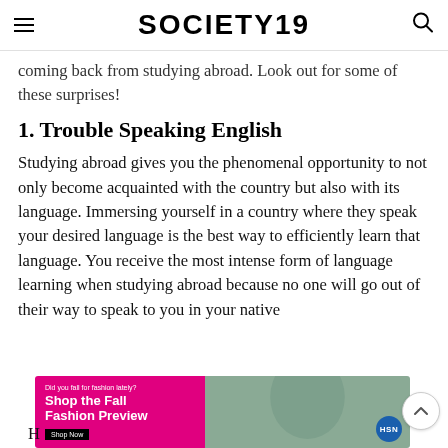SOCIETY19
coming back from studying abroad. Look out for some of these surprises!
1. Trouble Speaking English
Studying abroad gives you the phenomenal opportunity to not only become acquainted with the country but also with its language. Immersing yourself in a country where they speak your desired language is the best way to efficiently learn that language. You receive the most intense form of language learning when studying abroad because no one will go out of their way to speak to you in your native
[Figure (advertisement): HSN Shop the Fall Fashion Preview advertisement banner with woman in teal outfit]
H...